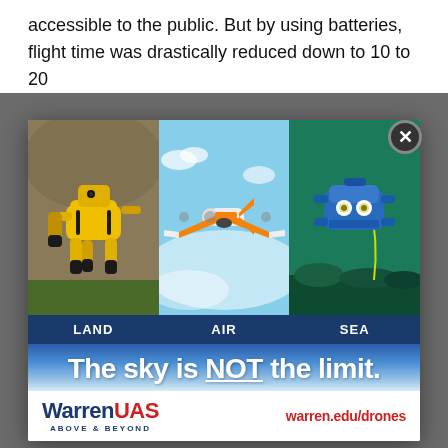accessible to the public. But by using batteries, flight time was drastically reduced down to 10 to 20
[Figure (infographic): Advertisement for Warren UAS showing three robotic vehicles: a yellow quadruped robot dog (LAND), an orange and white fixed-wing drone (AIR), and a blue underwater ROV (SEA). Tagline: The sky is NOT the limit. Warren UAS ABOVE & BEYOND. warren.edu/drones]
Accept Cookies